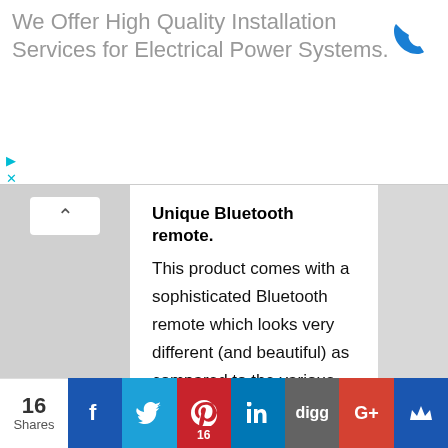[Figure (screenshot): Ad banner with text 'We Offer High Quality Installation Services for Electrical Power Systems.' with a blue phone icon on the right and playback/close controls on the left]
Unique Bluetooth remote.
This product comes with a sophisticated Bluetooth remote which looks very different (and beautiful) as compared to the various Bluetooth remote out there. The appearance of the remote looks very much more classy and professional. According to the picture above, the diamond shape one is the Bluetooth remote.
[Figure (infographic): Social share bar at the bottom showing 16 Shares, with buttons for Facebook, Twitter, Pinterest (16), LinkedIn, Digg, Google+, and a crown/bookmark icon]